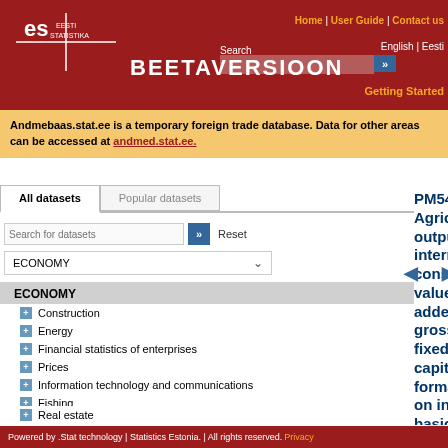[Figure (screenshot): Eesti Statistika (Statistics Estonia) logo with 'ES' monogram on dark red background]
Home | User Guide | Contact us
English | Eesti
Search BEETAVERSIOON Getting Started
Andmebaas.stat.ee is a temporary foreign trade database. Data for other areas can be accessed at andmed.stat.ee.
All datasets   Popular datasets
Search for datasets   Reset
ECONOMY
ECONOMY
+ Construction
+ Energy
+ Financial statistics of enterprises
+ Prices
+ Information technology and communications
+ Fishing
+ Real estate
+ Economic units
+ Forestry
PM54: Agricultural output, intermediate consumption, value added, gross fixed capital formation in basic
Powered by .Stat technology | Statistics Estonia. | All rights reserved. Privacy